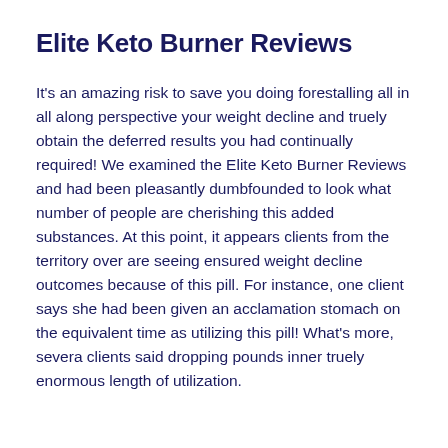Elite Keto Burner Reviews
It's an amazing risk to save you doing forestalling all in all along perspective your weight decline and truely obtain the deferred results you had continually required! We examined the Elite Keto Burner Reviews and had been pleasantly dumbfounded to look what number of people are cherishing this added substances. At this point, it appears clients from the territory over are seeing ensured weight decline outcomes because of this pill. For instance, one client says she had been given an acclamation stomach on the equivalent time as utilizing this pill! What's more, severa clients said dropping pounds inner truely enormous length of utilization.